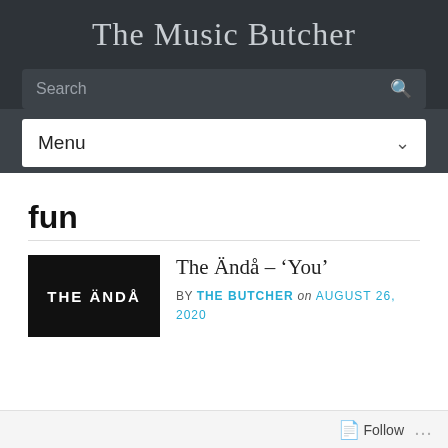The Music Butcher
Menu
fun
[Figure (photo): Thumbnail image with black background and white text reading 'THE ÄNDÅ']
The Ändå – 'You'
BY THE BUTCHER on AUGUST 26, 2020
Follow